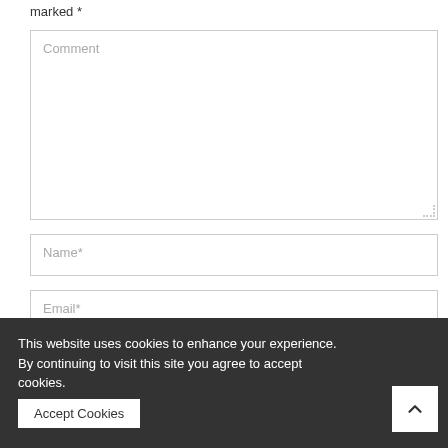marked *
Comment
Name*
Email*
This website uses cookies to enhance your experience. By continuing to visit this site you agree to accept cookies.
Accept Cookies